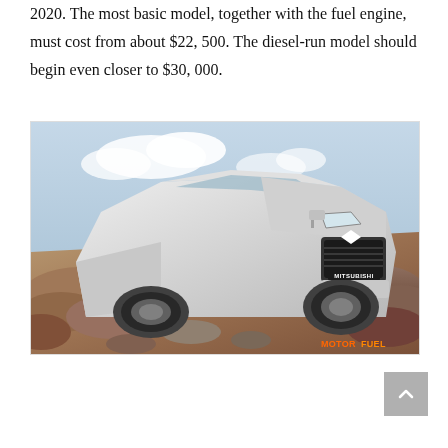2020. The most basic model, together with the fuel engine, must cost from about $22, 500. The diesel-run model should begin even closer to $30, 000.
[Figure (photo): A silver Mitsubishi pickup truck (L200/Triton) driving over rocky terrain with a blue sky in the background. The truck faces the camera at a three-quarter front angle. A 'MITSUBISHI' badge is visible on the grille. A watermark reading 'MOTOR FUEL' in orange is in the bottom right corner.]